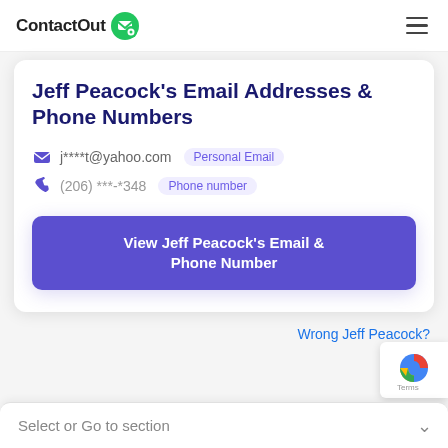ContactOut
Jeff Peacock's Email Addresses & Phone Numbers
j****t@yahoo.com  Personal Email
(206) ***-*348  Phone number
View Jeff Peacock's Email & Phone Number
Wrong Jeff Peacock?
Select or Go to section